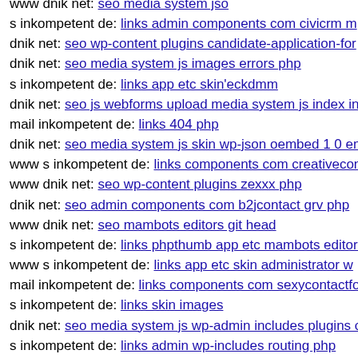www dnik net: seo media system jso
s inkompetent de: links admin components com civicrm m
dnik net: seo wp-content plugins candidate-application-for
dnik net: seo media system js images errors php
s inkompetent de: links app etc skin'eckdmm
dnik net: seo js webforms upload media system js index in
mail inkompetent de: links 404 php
dnik net: seo media system js skin wp-json oembed 1 0 em
www s inkompetent de: links components com creativecon
www dnik net: seo wp-content plugins zexxx php
dnik net: seo admin components com b2jcontact grv php
www dnik net: seo mambots editors git head
s inkompetent de: links phpthumb app etc mambots editors
www s inkompetent de: links app etc skin administrator w
mail inkompetent de: links components com sexycontactfo
s inkompetent de: links skin images
dnik net: seo media system js wp-admin includes plugins c
s inkompetent de: links admin wp-includes routing php
www mail inkompetent de: links components com hotorno
s inkompetent de: links phpthumb media tinymce jscripts t
s inkompetent de: links admin components com jnews inc